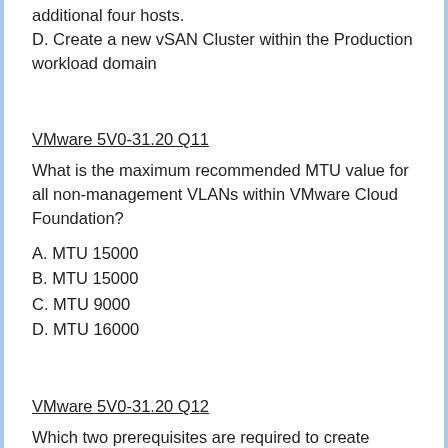C. Expand the Production vLCAN cluster with the additional four hosts.
D. Create a new vSAN Cluster within the Production workload domain
VMware 5V0-31.20 Q11
What is the maximum recommended MTU value for all non-management VLANs within VMware Cloud Foundation?
A. MTU 15000
B. MTU 15000
C. MTU 9000
D. MTU 16000
VMware 5V0-31.20 Q12
Which two prerequisites are required to create vSphere with Tanzu namespace? (Choose two.)